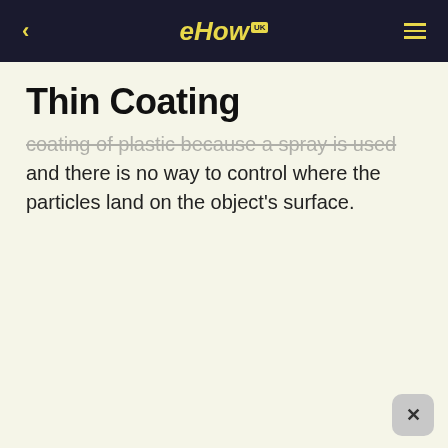eHow
Thin Coating
coating of plastic because a spray is used and there is no way to control where the particles land on the object's surface.